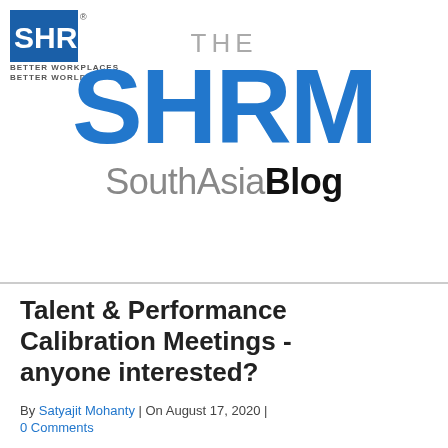[Figure (logo): SHRM logo small - blue square with SHRM text, Better Workplaces Better World tagline]
THE SHRM SouthAsia Blog
Talent & Performance Calibration Meetings - anyone interested?
By Satyajit Mohanty | On August 17, 2020 | 0 Comments